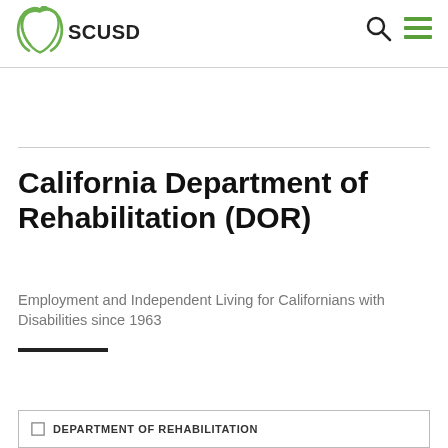[Figure (logo): SCUSD logo with green apple and text]
California Department of Rehabilitation (DOR)
Employment and Independent Living for Californians with Disabilities since 1963
DEPARTMENT OF REHABILITATION